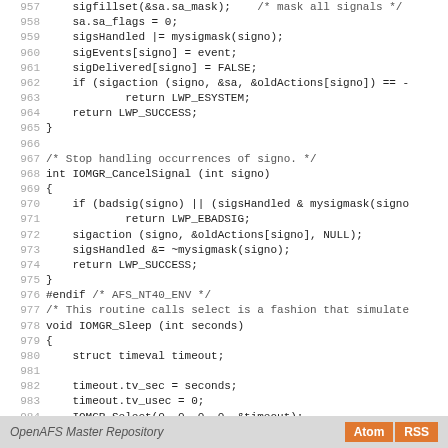Code listing lines 957-985: C source code for signal handling and IOMGR functions in OpenAFS
OpenAFS Master Repository  [Atom] [RSS]